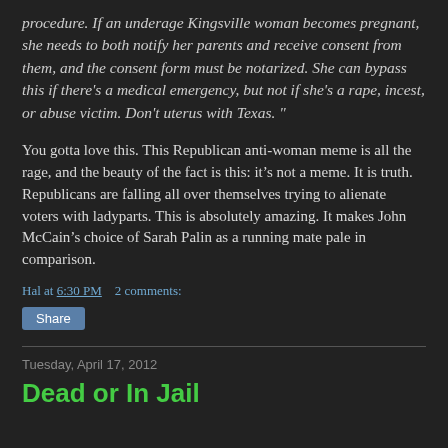procedure. If an underage Kingsville woman becomes pregnant, she needs to both notify her parents and receive consent from them, and the consent form must be notarized. She can bypass this if there's a medical emergency, but not if she's a rape, incest, or abuse victim. Don't uterus with Texas.”
You gotta love this. This Republican anti-woman meme is all the rage, and the beauty of the fact is this: it’s not a meme. It is truth. Republicans are falling all over themselves trying to alienate voters with ladyparts. This is absolutely amazing. It makes John McCain’s choice of Sarah Palin as a running mate pale in comparison.
Hal at 6:30 PM    2 comments:
Share
Tuesday, April 17, 2012
Dead or In Jail